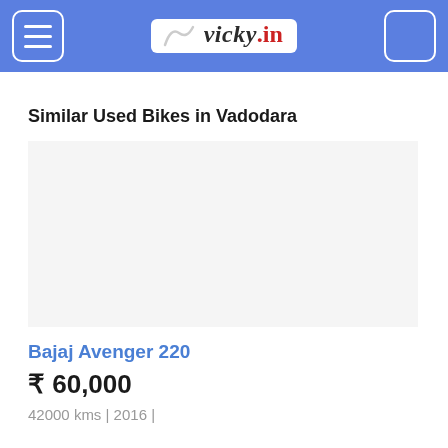vicky.in
Similar Used Bikes in Vadodara
[Figure (photo): Placeholder image area for Bajaj Avenger 220 bike listing]
Bajaj Avenger 220
₹ 60,000
42000 kms | 2016 |